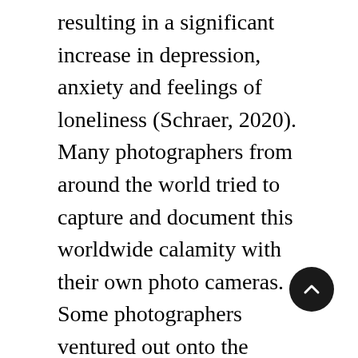resulting in a significant increase in depression, anxiety and feelings of loneliness (Schraer, 2020). Many photographers from around the world tried to capture and document this worldwide calamity with their own photo cameras. Some photographers ventured out onto the empty streets, capturing different locations but similar stories: isolation and desolation increasing as quickly as the virus was spreading (Kimmelman, 2020). An example of this can be seen in a project called “Covid Photo Diaries,” initiated by eight Spanish photographers who live in different parts of Spain and who decided to document the pandemic in their surroundings. With their